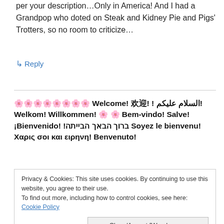per your description…Only in America! And I had a Grandpop who doted on Steak and Kidney Pie and Pigs' Trotters, so no room to criticize…
↳ Reply
🌸🌸🌸🌸🌸🌸🌸🌸 Welcome! 欢迎! ! السلام عليكم! Welkom! Willkommen! 🌸 🌸 Bem-vindo! Salve! ¡Bienvenido! !ברוך הבאך הבייתה Soyez le bienvenu! Χαρις σοι και ειρηνη! Benvenuto!
Privacy & Cookies: This site uses cookies. By continuing to use this website, you agree to their use.
To find out more, including how to control cookies, see here: Cookie Policy
Close/Accept [We also use StatCounter!]